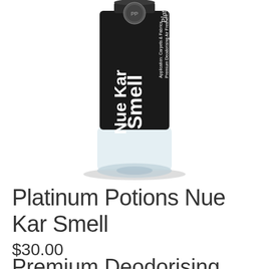[Figure (photo): A spray bottle of Platinum Potions Nue Kar Smell, dark/black label, 500mL, with text: Application: Carpets & Fabrics, Premium Deodorising Air Freshener, Eliminates Stubborn Odours, Antimicrobial & Antibacterial, Long Lasting Fragrance. Clear plastic bottom portion of bottle visible.]
Platinum Potions Nue Kar Smell
$30.00
Premium Deodorising Air Freshener